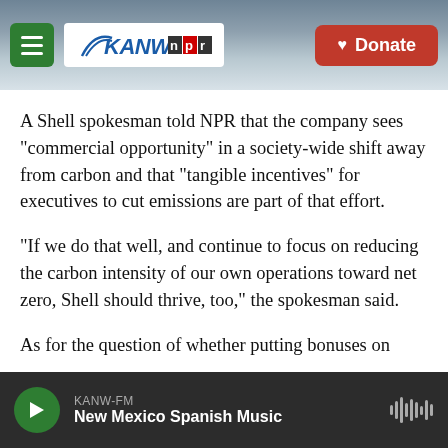KANW NPR | Donate
A Shell spokesman told NPR that the company sees "commercial opportunity" in a society-wide shift away from carbon and that "tangible incentives" for executives to cut emissions are part of that effort.
"If we do that well, and continue to focus on reducing the carbon intensity of our own operations toward net zero, Shell should thrive, too," the spokesman said.
As for the question of whether putting bonuses on
KANW-FM
New Mexico Spanish Music